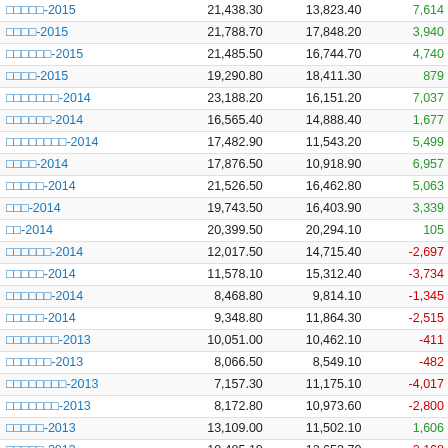|  | Col1 | Col2 | Diff |
| --- | --- | --- | --- |
| □□□□□-2015 | 21,438.30 | 13,823.40 | 7,614 |
| □□□□-2015 | 21,788.70 | 17,848.20 | 3,940 |
| □□□□□□-2015 | 21,485.50 | 16,744.70 | 4,740 |
| □□□□-2015 | 19,290.80 | 18,411.30 | 879 |
| □□□□□□□-2014 | 23,188.20 | 16,151.20 | 7,037 |
| □□□□□□-2014 | 16,565.40 | 14,888.40 | 1,677 |
| □□□□□□□□-2014 | 17,482.90 | 11,543.20 | 5,499 |
| □□□□-2014 | 17,876.50 | 10,918.90 | 6,957 |
| □□□□□-2014 | 21,526.50 | 16,462.80 | 5,063 |
| □□□-2014 | 19,743.50 | 16,403.90 | 3,339 |
| □□-2014 | 20,399.50 | 20,294.10 | 105 |
| □□□□□□-2014 | 12,017.50 | 14,715.40 | -2,697 |
| □□□□□-2014 | 11,578.10 | 15,312.40 | -3,734 |
| □□□□□□-2014 | 8,468.80 | 9,814.10 | -1,345 |
| □□□□□-2014 | 9,348.80 | 11,864.30 | -2,515 |
| □□□□□□□-2013 | 10,051.00 | 10,462.10 | -411 |
| □□□□□□-2013 | 8,066.50 | 8,549.10 | -482 |
| □□□□□□□□-2013 | 7,157.30 | 11,175.10 | -4,017 |
| □□□□□□□-2013 | 8,172.80 | 10,973.60 | -2,800 |
| □□□□□-2013 | 13,109.00 | 11,502.10 | 1,606 |
| □□□□□-2013 | 10,485.10 | 12,653.70 | -2,168 |
| □□□-2013 | 9,582.30 | 9,851.10 | -268 |
| □□-2013 | 9,067.30 | 12,575.30 | -3,508 |
| □□□□□□-2013 | 6,721.10 | 8,349.20 | -1,628 |